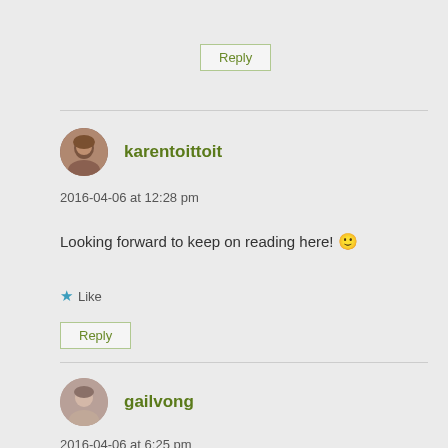Reply
karentoittoit
2016-04-06 at 12:28 pm
Looking forward to keep on reading here! 🙂
★ Like
Reply
gailvong
2016-04-06 at 6:25 pm